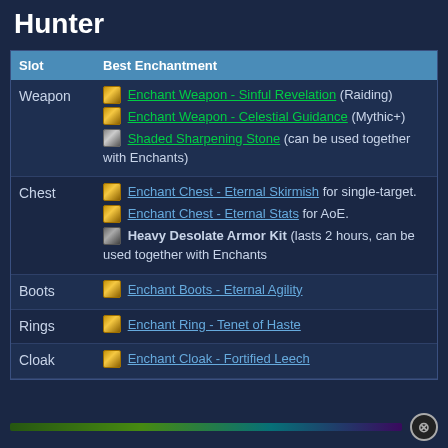Hunter
| Slot | Best Enchantment |
| --- | --- |
| Weapon | Enchant Weapon - Sinful Revelation (Raiding)
Enchant Weapon - Celestial Guidance (Mythic+)
Shaded Sharpening Stone (can be used together with Enchants) |
| Chest | Enchant Chest - Eternal Skirmish for single-target.
Enchant Chest - Eternal Stats for AoE.
Heavy Desolate Armor Kit (lasts 2 hours, can be used together with Enchants |
| Boots | Enchant Boots - Eternal Agility |
| Rings | Enchant Ring - Tenet of Haste |
| Cloak | Enchant Cloak - Fortified Leech |